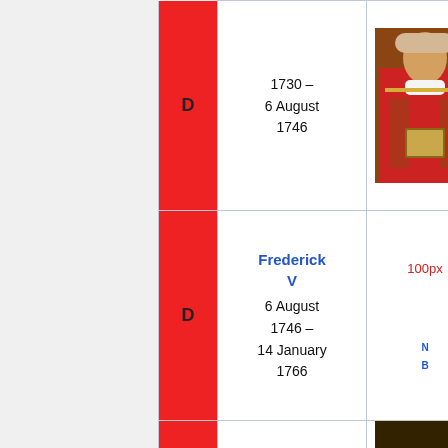|  | D | Name/Dates | Portrait | Info |
| --- | --- | --- | --- | --- |
|  | D | 1730 –
6 August
1746 | [portrait] |  |
|  | D | Frederick V
6 August 1746 –
14 January 1766 | 100px |  |
|  |  |  |  |  |